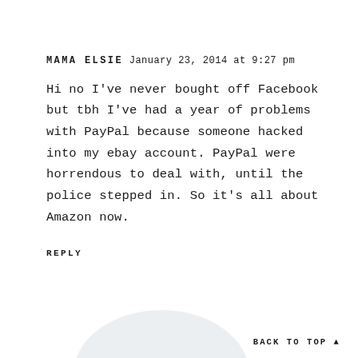MAMA ELSIE January 23, 2014 at 9:27 pm
Hi no I've never bought off Facebook but tbh I've had a year of problems with PayPal because someone hacked into my ebay account. PayPal were horrendous to deal with, until the police stepped in. So it's all about Amazon now.
REPLY
BACK TO TOP ▲